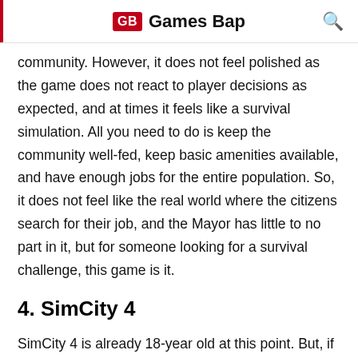GB Games Bap
community. However, it does not feel polished as the game does not react to player decisions as expected, and at times it feels like a survival simulation. All you need to do is keep the community well-fed, keep basic amenities available, and have enough jobs for the entire population. So, it does not feel like the real world where the citizens search for their job, and the Mayor has little to no part in it, but for someone looking for a survival challenge, this game is it.
4. SimCity 4
SimCity 4 is already 18-year old at this point. But, if we put the visual fidelity factor aside, this game still